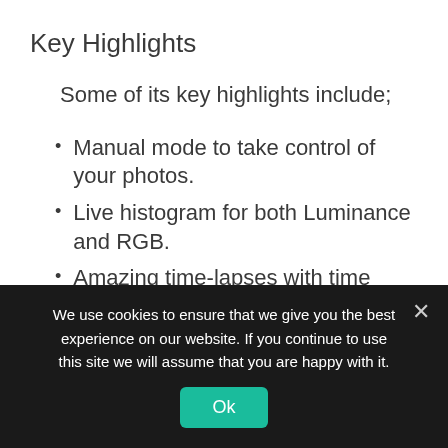Key Highlights
Some of its key highlights include;
Manual mode to take control of your photos.
Live histogram for both Luminance and RGB.
Amazing time-lapses with time shots.
Multi exposure algorithm with high resolution.
Tiny planets, virtual horizon, grids, and
We use cookies to ensure that we give you the best experience on our website. If you continue to use this site we will assume that you are happy with it.